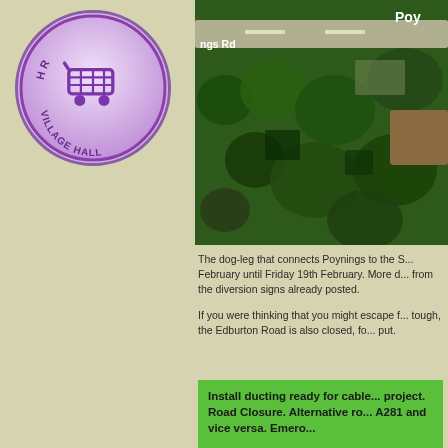[Figure (logo): Village Hall shopping/market logo — circular purple-bordered badge with shopping cart icon and text reading VILLAGE HALL]
[Figure (map): Aerial satellite map image showing Poynings area with green fields and trees. Labels visible: 'ngs Rd' (Kings Road) on the left and 'Poy' on the upper right.]
The dog-leg that connects Poynings to the S... February until Friday 19th February. More d... from the diversion signs already posted.
If you were thinking that you might escape f... tough, the Edburton Road is also closed, fo... put.
Install ducting ready for cable... project.
Road Closure. Alternative ro... A281 and vice versa. Emero...